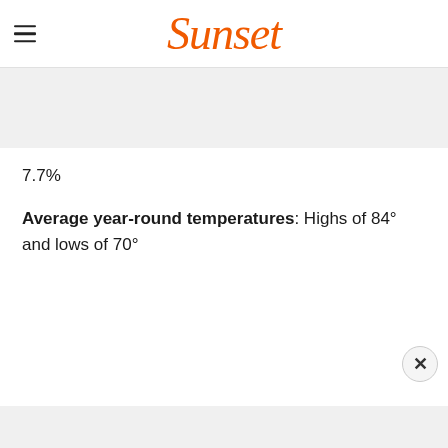Sunset
7.7%
Average year-round temperatures: Highs of 84° and lows of 70°